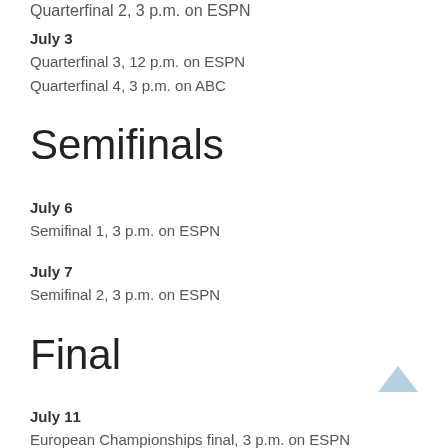Quarterfinal 2, 3 p.m. on ESPN
July 3
Quarterfinal 3, 12 p.m. on ESPN
Quarterfinal 4, 3 p.m. on ABC
Semifinals
July 6
Semifinal 1, 3 p.m. on ESPN
July 7
Semifinal 2, 3 p.m. on ESPN
Final
July 11
European Championships final, 3 p.m. on ESPN
Completed Matches